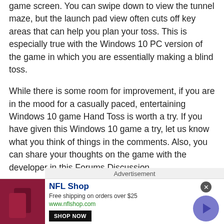game screen. You can swipe down to view the tunnel maze, but the launch pad view often cuts off key areas that can help you plan your toss. This is especially true with the Windows 10 PC version of the game in which you are essentially making a blind toss.
While there is some room for improvement, if you are in the mood for a casually paced, entertaining Windows 10 game Hand Toss is worth a try. If you have given this Windows 10 game a try, let us know what you think of things in the comments. Also, you can share your thoughts on the game with the developer in this Forums Discussion.
[Figure (screenshot): Advertisement banner with NFL Shop ad showing logo, free shipping offer, shop now button, and navigation arrow]